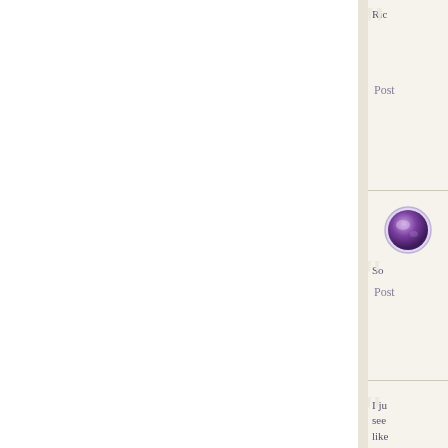Ric
Post
[Figure (photo): Purple circular avatar/profile icon]
So
Post
I ju see like visi